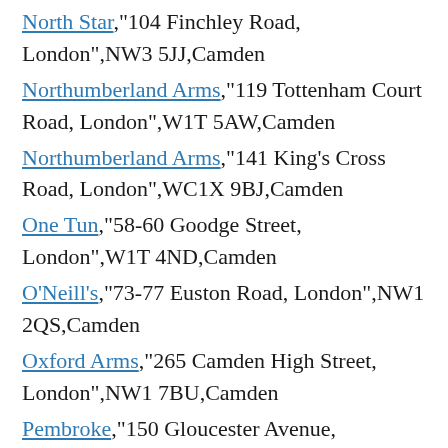North Star,"104 Finchley Road, London",NW3 5JJ,Camden
Northumberland Arms,"119 Tottenham Court Road, London",W1T 5AW,Camden
Northumberland Arms,"141 King's Cross Road, London",WC1X 9BJ,Camden
One Tun,"58-60 Goodge Street, London",W1T 4ND,Camden
O'Neill's,"73-77 Euston Road, London",NW1 2QS,Camden
Oxford Arms,"265 Camden High Street, London",NW1 7BU,Camden
Pembroke,"150 Gloucester Avenue,